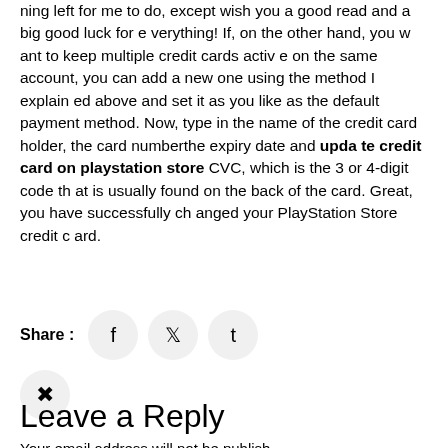ning left for me to do, except wish you a good read and a big good luck for everything! If, on the other hand, you want to keep multiple credit cards active on the same account, you can add a new one using the method I explained above and set it as you like as the default payment method. Now, type in the name of the credit card holder, the card numberthe expiry date and update credit card on playstation store CVC, which is the 3 or 4-digit code that is usually found on the back of the card. Great, you have successfully changed your PlayStation Store credit card.
Share :
Leave a Reply
Your email address will not be publish